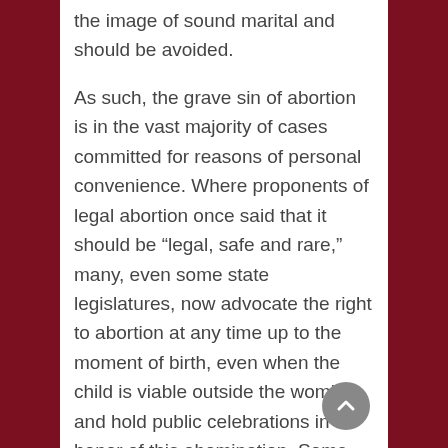the image of sound marital and should be avoided.
As such, the grave sin of abortion is in the vast majority of cases committed for reasons of personal convenience. Where proponents of legal abortion once said that it should be “legal, safe and rare,” many, even some state legislatures, now advocate the right to abortion at any time up to the moment of birth, even when the child is viable outside the womb, and hold public celebrations in honor of this abomination. Some even suggest that a child who has been born is not safe, but is subject to the whim of the mother, perhaps with advice from a doctor.